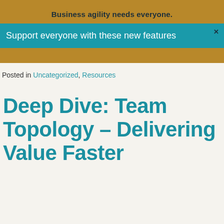Business agility needs everyone.
Support everyone with these new features
Posted in Uncategorized, Resources
Deep Dive: Team Topology – Delivering Value Faster